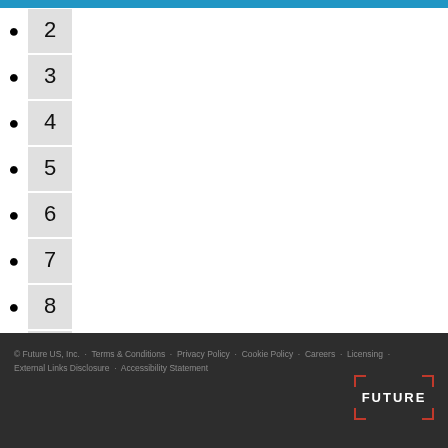2
3
4
5
6
7
8
9
...
NEXT ›
LAST »
© Future US, Inc. · Terms & Conditions · Privacy Policy · Cookie Policy · Careers · Licensing · External Links Disclosure · Accessibility Statement